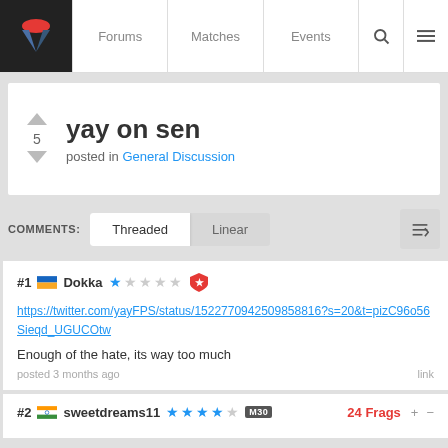Forums | Matches | Events
yay on sen
posted in General Discussion
COMMENTS: Threaded Linear
#1 Dokka — https://twitter.com/yayFPS/status/1522770942509858816?s=20&t=pizC96o56Sieqd_UGUCOtw
Enough of the hate, its way too much
posted 3 months ago — link
#2 sweetdreams11 — 24 Frags + -